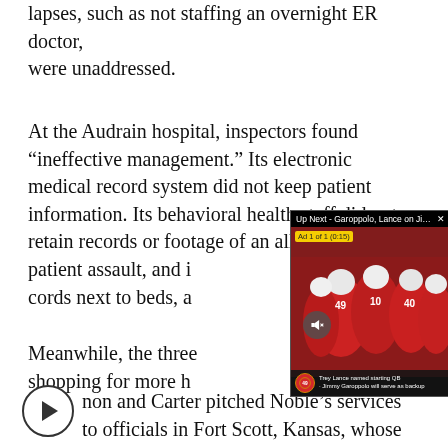lapses, such as not staffing an overnight ER doctor, were unaddressed.
At the Audrain hospital, inspectors found “ineffective management.” Its electronic medical record system did not keep patient information. Its behavioral health staff did not retain records or footage of an alleged patient assault, and it had call cords next to beds, a…
[Figure (screenshot): Video overlay showing 'Up Next - Garoppolo, Lance on Jimmy G...' with football players in red uniforms, mute button, ad counter 'Ad 1 of 1 (0:15)', and bottom ticker '49ers: Trey Lance named starting QB, Jimmy Garoppolo will serve as backup']
Meanwhile, the three… shopping for more h…
non and Carter pitched Noble’s services to officials in Fort Scott, Kansas, whose hospital had closed in 2018. City and county leaders on July 23,